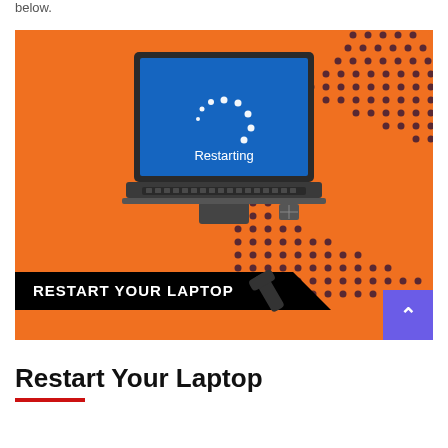below.
[Figure (illustration): A laptop with a blue screen showing a Windows loading spinner and the text 'Restarting', set against an orange background with dark dot patterns in the corners. A black banner at the bottom reads 'RESTART YOUR LAPTOP' with a wrench icon. A purple scroll-to-top button with an up arrow is in the bottom-right corner.]
Restart Your Laptop